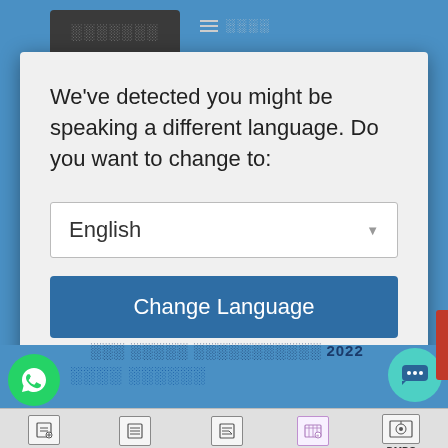[Figure (screenshot): A language-change dialog modal overlaying a webpage with blue header. The modal asks 'We've detected you might be speaking a different language. Do you want to change to:' with an English dropdown selector, a 'Change Language' button, and a 'Close and do not switch language' link.]